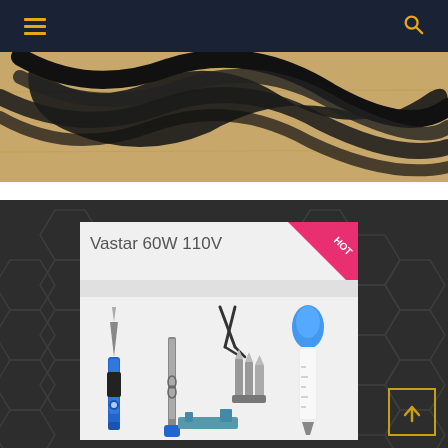Navigation header with hamburger menu and search icon
[Figure (photo): Close-up photo of black coiled/wavy cable or cord on a wooden surface background]
[Figure (photo): Product card showing 'Vastar 60W 110V' soldering iron kit with HOT badge, displayed against dark hexagonal patterned background. Kit includes soldering iron, stand, tweezers, tips, and solder sucker.]